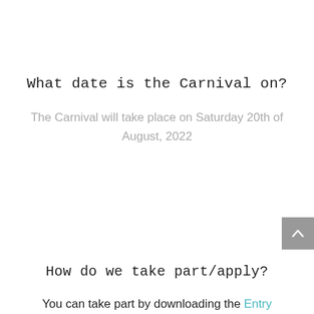What date is the Carnival on?
The Carnival will take place on Saturday 20th of August, 2022
How do we take part/apply?
You can take part by downloading the Entry